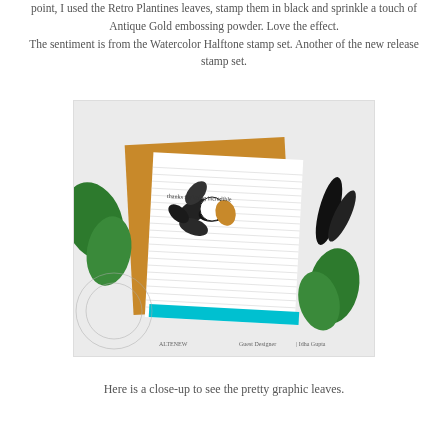point, I used the Retro Plantines leaves, stamp them in black and sprinkle a touch of Antique Gold embossing powder. Love the effect. The sentiment is from the Watercolor Halftone stamp set. Another of the new release stamp set.
[Figure (photo): A crafting card featuring stamped black leaves with gold embossing on a white striped background, with a turquoise border, displayed against a mustard yellow envelope. Green tropical leaves, black and white feathers, and a detailed doily surround the card. Text at the bottom reads 'thanks for being incredible'. Altenew branding visible with Guest Designer Idha Gupta credit.]
Here is a close-up to see the pretty graphic leaves.